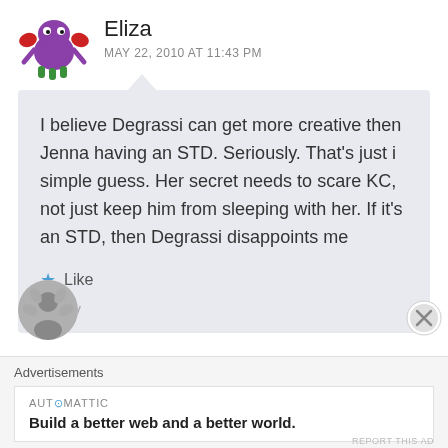[Figure (illustration): Avatar of a cartoon crab/monster character in purple and green, used as user profile image for Eliza]
Eliza
MAY 22, 2010 AT 11:43 PM
I believe Degrassi can get more creative then Jenna having an STD. Seriously. That's just i simple guess. Her secret needs to scare KC, not just keep him from sleeping with her. If it's an STD, then Degrassi disappoints me
Like
Reply
[Figure (illustration): Partial avatar of second commenter at bottom of page]
Advertisements
AUTOMATTIC
Build a better web and a better world.